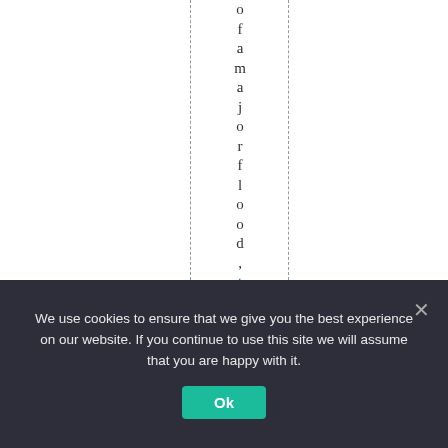of a major flood, the g
We use cookies to ensure that we give you the best experience on our website. If you continue to use this site we will assume that you are happy with it.